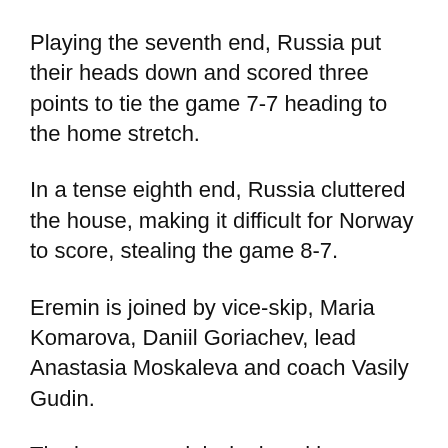Playing the seventh end, Russia put their heads down and scored three points to tie the game 7-7 heading to the home stretch.
In a tense eighth end, Russia cluttered the house, making it difficult for Norway to score, stealing the game 8-7.
Eremin is joined by vice-skip, Maria Komarova, Daniil Goriachev, lead Anastasia Moskaleva and coach Vasily Gudin.
The bronze medal winning skip commented on the game’s turning point, “after the pick in the sixth end, our team became really angry and just wanted to make every shot and play the best we